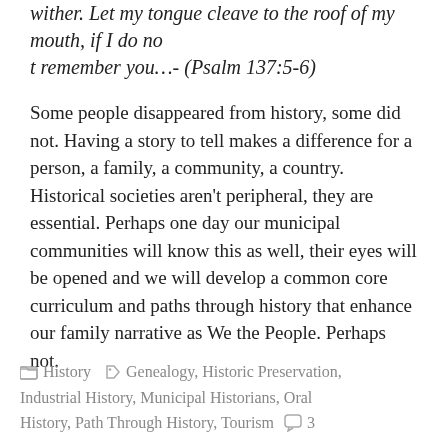wither. Let my tongue cleave to the roof of my mouth, if I do not remember you&#8230;- (Psalm 137:5-6)
Some people disappeared from history, some did not. Having a story to tell makes a difference for a person, a family, a community, a country. Historical societies aren’t peripheral, they are essential. Perhaps one day our municipal communities will know this as well, their eyes will be opened and we will develop a common core curriculum and paths through history that enhance our family narrative as We the People. Perhaps not.
History   Genealogy, Historic Preservation, Industrial History, Municipal Historians, Oral History, Path Through History, Tourism   3 Comments